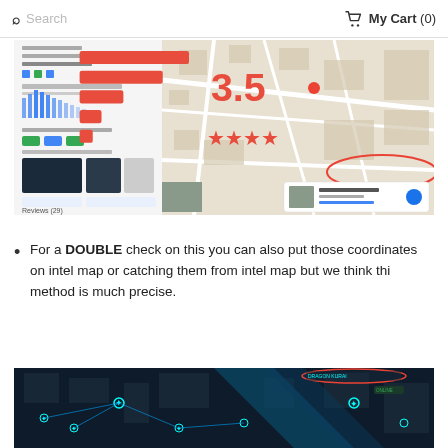Search | My Cart (0)
[Figure (screenshot): Google Maps screenshot showing a street map with a sidebar panel displaying ratings (3.5 stars), a histogram of reviews, photos, and a highlighted place popup circled in red.]
For a DOUBLE check on this you can also put those coordinates on intel map or catching them from intel map but we think thi method is much precise.
[Figure (screenshot): Ingress intel map screenshot showing a dark map with cyan portal markers, blue links, and a red oval circling a label in the top right corner.]